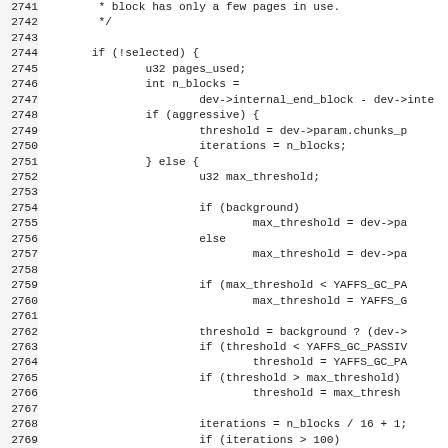[Figure (other): Source code listing with line numbers 2741-2772+, showing C code for a garbage collection function with if/else blocks handling page selection, threshold and iterations calculations]